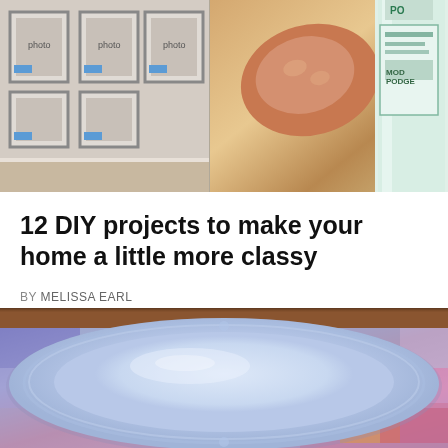[Figure (photo): Top composite image: left side shows picture frames on a wall with blue painter's tape accents, right side shows a finger pressing down on a white bottle of glue or mod podge]
12 DIY projects to make your home a little more classy
BY MELISSA EARL
[Figure (photo): A light blue painted decorative oval plate or platter sitting on a colorful patterned tablecloth or napkin, with brown carpet visible in the background]